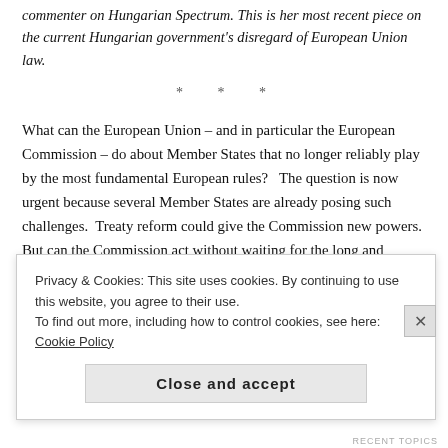commenter on Hungarian Spectrum. This is her most recent piece on the current Hungarian government's disregard of European Union law.
* * *
What can the European Union – and in particular the European Commission – do about Member States that no longer reliably play by the most fundamental European rules?   The question is now urgent because several Member States are already posing such challenges.  Treaty reform could give the Commission new powers.  But can the Commission act without waiting for the long and arduous process of treaty reform to provide new tools?
I propose a new approach, a simple extension of an existing...
Privacy & Cookies: This site uses cookies. By continuing to use this website, you agree to their use.
To find out more, including how to control cookies, see here: Cookie Policy
Close and accept